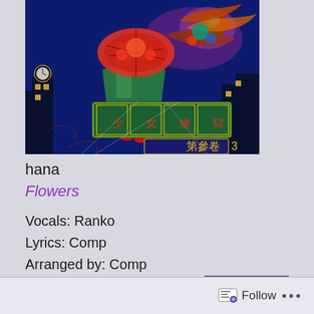[Figure (illustration): Anime-style album art for Maiden Purgatory Vol.3 showing a girl in traditional Chinese dress holding a decorative umbrella, with a dragon/phoenix creature flying above, against a night cityscape background with Chinese characters on illuminated signs reading 少女煉獄 and 第參卷 3]
hana
Flowers
Vocals: Ranko
Lyrics: Comp
Arranged by: Comp
Album: Maiden Purgatory Vol.3 [少女煉獄　第參卷]
Follow ...